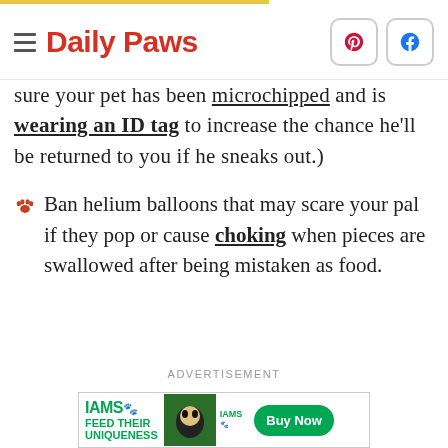Daily Paws
sure your pet has been microchipped and is wearing an ID tag to increase the chance he'll be returned to you if he sneaks out.)
Ban helium balloons that may scare your pal if they pop or cause choking when pieces are swallowed after being mistaken as food.
ADVERTISEMENT
[Figure (other): IAMS advertisement banner: IAMS logo with paw print, text FEED THEIR UNIQUENESS, dog image, IAMS logo, Buy Now button]